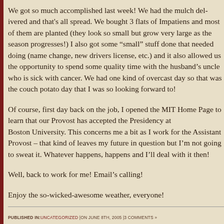We got so much accomplished last week! We had the mulch delivered and that's all spread. We bought 3 flats of Impatiens and most of them are planted (they look so small but grow very large as the season progresses!) I also got some “small” stuff done that needed doing (name change, new drivers license, etc.) and it also allowed us the opportunity to spend some quality time with the husband’s uncle who is sick with cancer. We had one kind of overcast day so that was the couch potato day that I was so looking forward to!
Of course, first day back on the job, I opened the MIT Home Page to learn that our Provost has accepted the Presidency at Boston University. This concerns me a bit as I work for the Assistant Provost – that kind of leaves my future in question but I’m not going to sweat it. Whatever happens, happens and I’ll deal with it then!
Well, back to work for me! Email’s calling!
Enjoy the so-wicked-awesome weather, everyone!
PUBLISHED IN: UNCATEGORIZED | ON JUNE 8TH, 2005 | 3 COMMENTS »